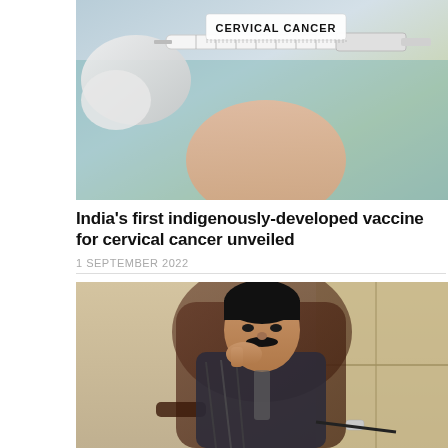[Figure (photo): Close-up photo of a medical professional in gloves holding a syringe, with a label that reads CERVICAL CANCER]
India's first indigenously-developed vaccine for cervical cancer unveiled
1 SEPTEMBER 2022
[Figure (photo): Black and white photo of a man with a mustache sitting in a leather chair with his hand near his face, in a thoughtful pose]